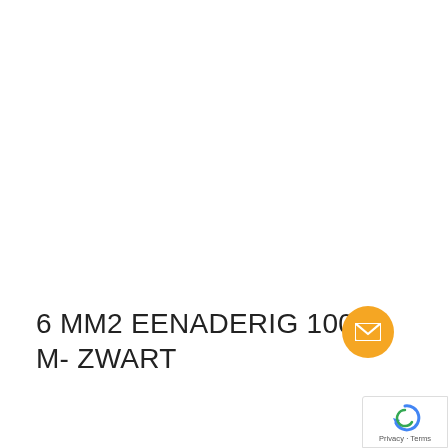6 MM2 EENADERIG 100 M- ZWART
[Figure (other): Orange circular email/contact button icon]
[Figure (other): Google reCAPTCHA badge with Privacy and Terms text]